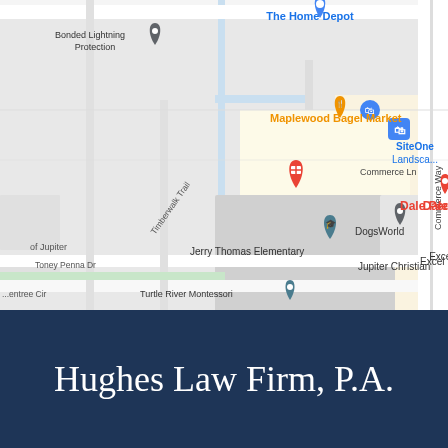[Figure (map): Google Maps view showing the area around Jupiter, Florida with landmarks: The Home Depot, Bonded Lightning Protection, Maplewood Bagel Market, SiteOne Landscape, Dale Pediatric Dentistry, DogsWorld, Jerry Thomas Elementary, Excel Medical, Jupiter Christian, Turtle River Montessori. Streets visible include Commerce Ln, Commerce Way, Toney Penna Dr, Timberwalk Trail.]
Hughes Law Firm, P.A.